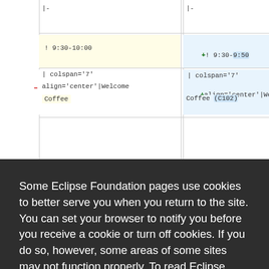[Figure (screenshot): Diff view showing two columns of wiki markup text with additions and deletions, partially obscured by a cookie consent overlay]
Some Eclipse Foundation pages use cookies to better serve you when you return to the site. You can set your browser to notify you before you receive a cookie or turn off cookies. If you do so, however, some areas of some sites may not function properly. To read Eclipse Foundation Privacy Policy
click here.
Decline
Allow cookies